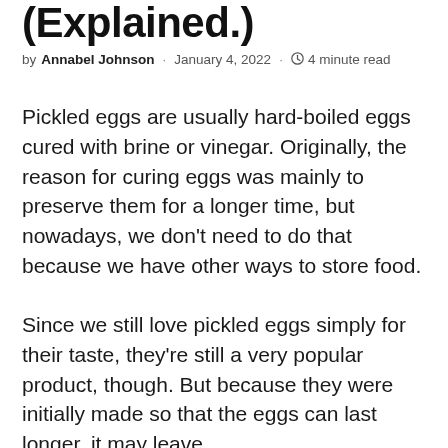(Explained.)
by Annabel Johnson · January 4, 2022 · 4 minute read
Pickled eggs are usually hard-boiled eggs cured with brine or vinegar. Originally, the reason for curing eggs was mainly to preserve them for a longer time, but nowadays, we don't need to do that because we have other ways to store food.
Since we still love pickled eggs simply for their taste, they're still a very popular product, though. But because they were initially made so that the eggs can last longer, it may leave